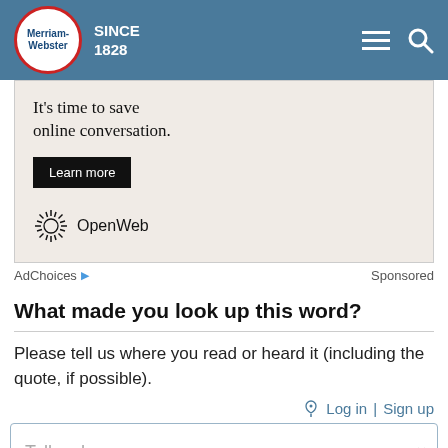Merriam-Webster SINCE 1828
[Figure (screenshot): Advertisement banner with text 'It's time to save online conversation.' with a 'Learn more' button and OpenWeb logo]
AdChoices ▷  Sponsored
What made you look up this word?
Please tell us where you read or heard it (including the quote, if possible).
🔔  Log in | Sign up
Tell us here